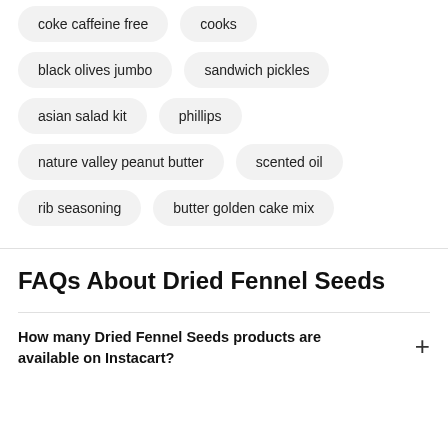coke caffeine free
cooks
black olives jumbo
sandwich pickles
asian salad kit
phillips
nature valley peanut butter
scented oil
rib seasoning
butter golden cake mix
FAQs About Dried Fennel Seeds
How many Dried Fennel Seeds products are available on Instacart?